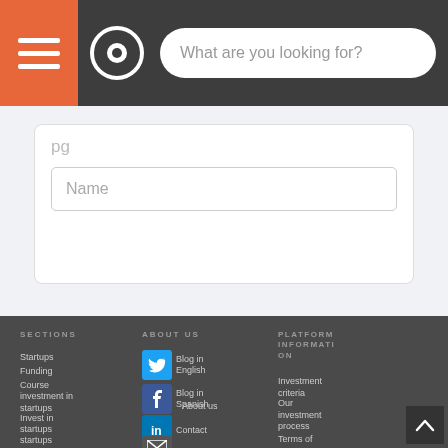[Figure (screenshot): Navigation bar with orange hamburger menu button, circular logo icon, and white rounded search bar with placeholder text 'What are you looking for?']
Name
SECTIONS
Startups
Funding
Course investment in startups
Invest in startups
startups
ABOUT US
Blog in English
Blog in Spanish
About us
Contact
PLATFORM INFORMATION
Investment criteria
Our investment process
Terms of